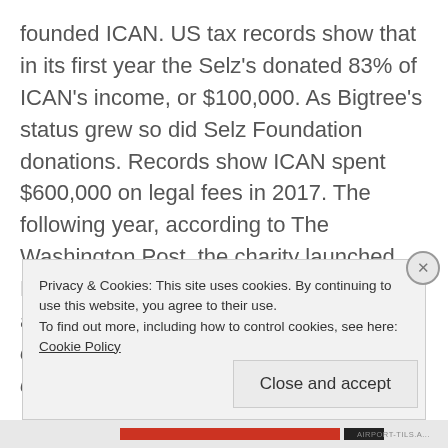founded ICAN. US tax records show that in its first year the Selz's donated 83% of ICAN's income, or $100,000. As Bigtree's status grew so did Selz Foundation donations. Records show ICAN spent $600,000 on legal fees in 2017. The following year, according to The Washington Post, the charity launched FOI Act lawsuits against the FDA, NIH and the US DHHS. The aim was, "to compel the release of data and documents related to vaccine safety". If ICAN
Privacy & Cookies: This site uses cookies. By continuing to use this website, you agree to their use.
To find out more, including how to control cookies, see here:
Cookie Policy
Close and accept